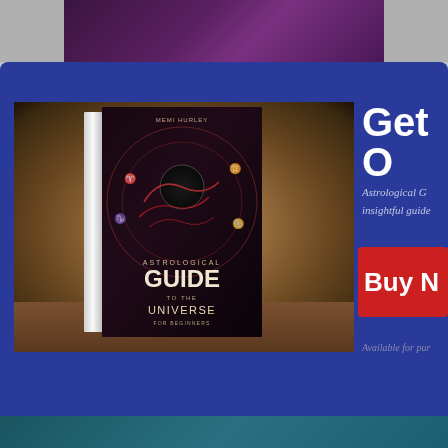[Figure (photo): Top partial strip showing a dark purple/mystical background image, partially cropped]
[Figure (photo): 3D book cover of 'Astrological Guide to the Universe for Beginners' displayed on a wooden surface with mystical zodiac symbols on the cover, set against a dark brown/warm background]
Get O
Astrological G... insightful guide
Buy N
Available for pur
[Figure (photo): Bottom partial strip showing a teal/dark green background image, partially cropped]